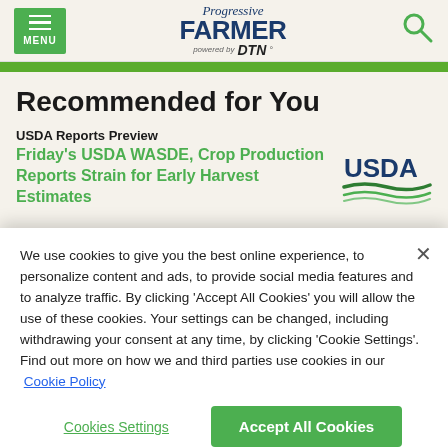[Figure (logo): Progressive Farmer powered by DTN logo with green menu button and search icon in header]
Recommended for You
USDA Reports Preview
Friday's USDA WASDE, Crop Production Reports Strain for Early Harvest Estimates
[Figure (logo): USDA logo with blue text and green wave graphic]
We use cookies to give you the best online experience, to personalize content and ads, to provide social media features and to analyze traffic. By clicking 'Accept All Cookies' you will allow the use of these cookies. Your settings can be changed, including withdrawing your consent at any time, by clicking 'Cookie Settings'. Find out more on how we and third parties use cookies in our  Cookie Policy